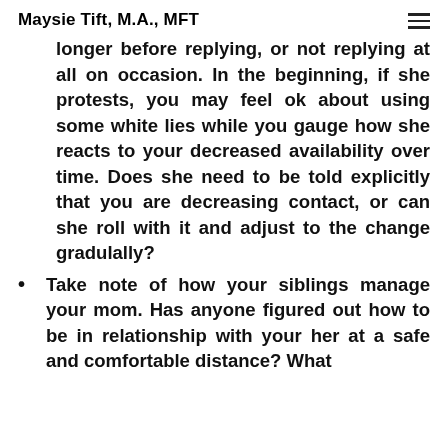Maysie Tift, M.A., MFT
longer before replying, or not replying at all on occasion. In the beginning, if she protests, you may feel ok about using some white lies while you gauge how she reacts to your decreased availability over time. Does she need to be told explicitly that you are decreasing contact, or can she roll with it and adjust to the change gradulally?
Take note of how your siblings manage your mom. Has anyone figured out how to be in relationship with your her at a safe and comfortable distance? What